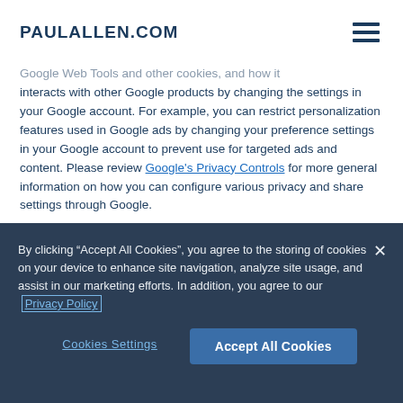PAULALLEN.COM
Google Web Tools and other cookies, and how it interacts with other Google products by changing the settings in your Google account. For example, you can restrict personalization features used in Google ads by changing your preference settings in your Google account to prevent use for targeted ads and content. Please review Google's Privacy Controls for more general information on how you can configure various privacy and share settings through Google.
By clicking “Accept All Cookies”, you agree to the storing of cookies on your device to enhance site navigation, analyze site usage, and assist in our marketing efforts. In addition, you agree to our Privacy Policy
Cookies Settings
Accept All Cookies